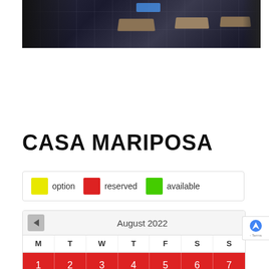[Figure (photo): Aerial/overhead view of a darkened room with desks/tables arranged in rows, a blue accent visible, dark flooring with grid pattern]
CASA MARIPOSA
[Figure (infographic): Legend showing three colored squares: yellow=option, red=reserved, green=available]
[Figure (other): Calendar showing August 2022 with navigation arrow, day headers M T W T F S S, and first row of dates 1-7 all shown in red (reserved)]